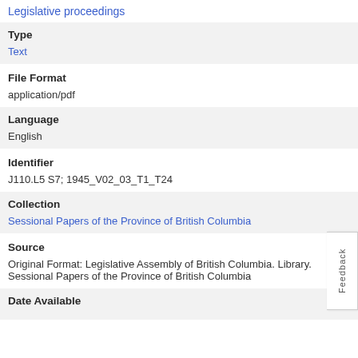Legislative proceedings
Type
Text
File Format
application/pdf
Language
English
Identifier
J110.L5 S7; 1945_V02_03_T1_T24
Collection
Sessional Papers of the Province of British Columbia
Source
Original Format: Legislative Assembly of British Columbia. Library. Sessional Papers of the Province of British Columbia
Date Available